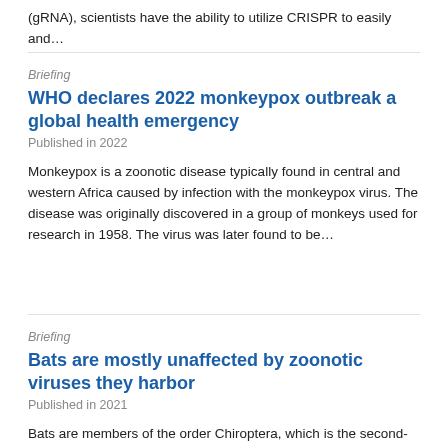(gRNA), scientists have the ability to utilize CRISPR to easily and…
Briefing
WHO declares 2022 monkeypox outbreak a global health emergency
Published in 2022
Monkeypox is a zoonotic disease typically found in central and western Africa caused by infection with the monkeypox virus. The disease was originally discovered in a group of monkeys used for research in 1958. The virus was later found to be…
Briefing
Bats are mostly unaffected by zoonotic viruses they harbor
Published in 2021
Bats are members of the order Chiroptera, which is the second-largest order of living mammals. The geographic distribution of these flying mammals is tremendous as well, ranging from the limit of trees in the Northern Hemisphere to the southern tips…